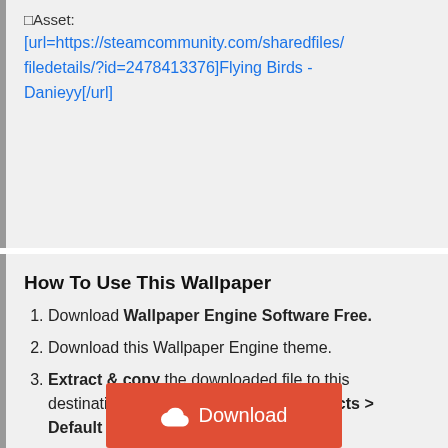🔲Asset: [url=https://steamcommunity.com/sharedfiles/filedetails/?id=2478413376]Flying Birds - Danieyy[/url]
How To Use This Wallpaper
1. Download Wallpaper Engine Software Free.
2. Download this Wallpaper Engine theme.
3. Extract & copy the downloaded file to this destination: [Wallpaper Engine] > Projects > Default projects.
4. Need help? Read this Here.
Download